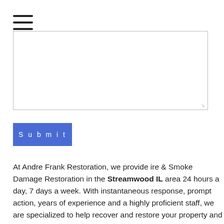[Figure (other): Hamburger menu icon with three horizontal lines]
[Figure (other): Text area input box with resize handle]
Submit
At Andre Frank Restoration, we provide ire & Smoke Damage Restoration in the Streamwood IL area 24 hours a day, 7 days a week. With instantaneous response, prompt action, years of experience and a highly proficient staff, we are specialized to help recover and restore your property and minimize your inconvenience. We also offer contents restoration and have a large storage facility to safely house your belongings. Most often, restoring contents is less